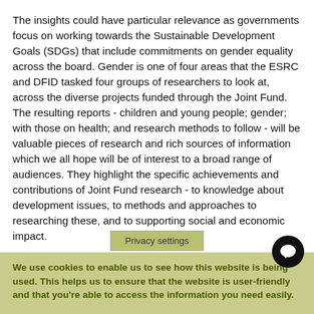The insights could have particular relevance as governments focus on working towards the Sustainable Development Goals (SDGs) that include commitments on gender equality across the board. Gender is one of four areas that the ESRC and DFID tasked four groups of researchers to look at, across the diverse projects funded through the Joint Fund. The resulting reports - children and young people; gender; with those on health; and research methods to follow - will be valuable pieces of research and rich sources of information which we all hope will be of interest to a broad range of audiences. They highlight the specific achievements and contributions of Joint Fund research - to knowledge about development issues, to methods and approaches to researching these, and to supporting social and economic impact.
Privacy settings
We use cookies to enable us to see how this website is being used. This helps us to ensure that the website is user-friendly and that you're able to access the information you need easily.